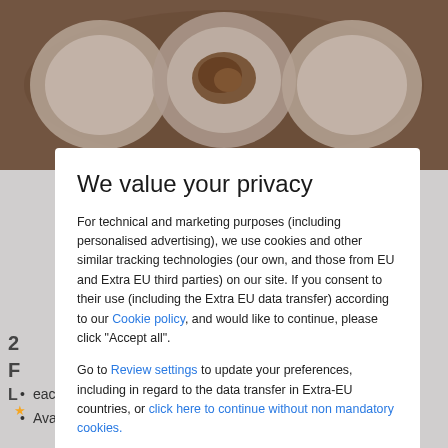[Figure (photo): Background showing a restaurant table with plates of food and a blurred grey overlay beneath the cookie consent modal]
We value your privacy
For technical and marketing purposes (including personalised advertising), we use cookies and other similar tracking technologies (our own, and those from EU and Extra EU third parties) on our site. If you consent to their use (including the Extra EU data transfer) according to our Cookie policy, and would like to continue, please click "Accept all".
Go to Review settings to update your preferences, including in regard to the data transfer in Extra-EU countries, or click here to continue without non mandatory cookies.
ACCEPT ALL
each
Available seven days a week